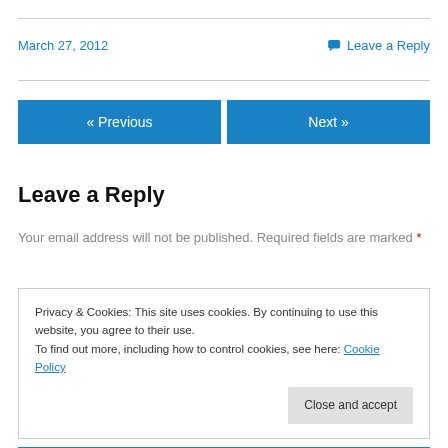March 27, 2012    Leave a Reply
« Previous    Next »
Leave a Reply
Your email address will not be published. Required fields are marked *
Privacy & Cookies: This site uses cookies. By continuing to use this website, you agree to their use. To find out more, including how to control cookies, see here: Cookie Policy
Close and accept